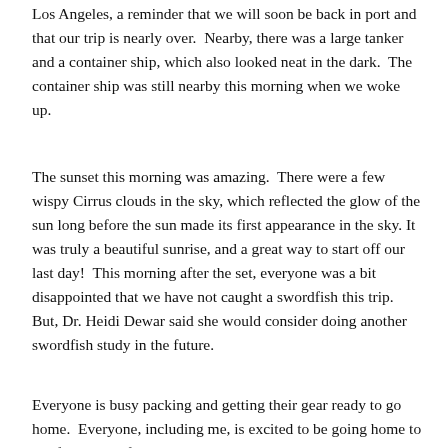Los Angeles, a reminder that we will soon be back in port and that our trip is nearly over.  Nearby, there was a large tanker and a container ship, which also looked neat in the dark.  The container ship was still nearby this morning when we woke up.
The sunset this morning was amazing.  There were a few wispy Cirrus clouds in the sky, which reflected the glow of the sun long before the sun made its first appearance in the sky. It was truly a beautiful sunrise, and a great way to start off our last day!  This morning after the set, everyone was a bit disappointed that we have not caught a swordfish this trip.  But, Dr. Heidi Dewar said she would consider doing another swordfish study in the future.
Everyone is busy packing and getting their gear ready to go home.  Everyone, including me, is excited to be going home to see family and friends, but I think most people